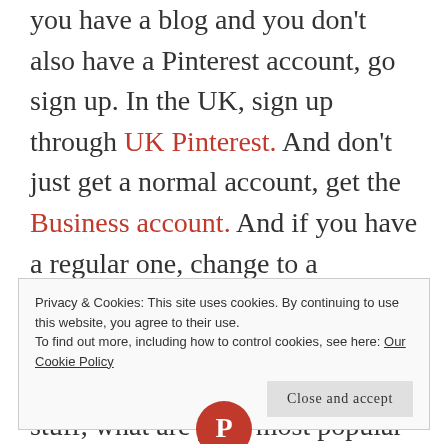you have a blog and you don't also have a Pinterest account, go sign up. In the UK, sign up through UK Pinterest. And don't just get a normal account, get the Business account. And if you have a regular one, change to a business one. It's free, and with it comes some very useful analytics to tell you who is pinning your stuff, what are your most popular pins, and how often is it
Privacy & Cookies: This site uses cookies. By continuing to use this website, you agree to their use.
To find out more, including how to control cookies, see here: Our Cookie Policy